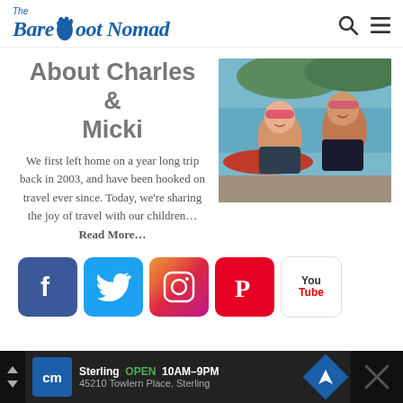[Figure (logo): The Barefoot Nomad logo with footprint icon]
About Charles & Micki
We first left home on a year long trip back in 2003, and have been hooked on travel ever since. Today, we're sharing the joy of travel with our children... Read More...
[Figure (photo): Photo of Charles and Micki in red bandanas near a kayak by a lake]
[Figure (other): Social media icons row: Facebook, Twitter, Instagram, Pinterest, YouTube]
[Figure (infographic): Advertisement bar for a store in Sterling with CM logo, open hours 10AM-9PM, address 45210 Towlern Place, Sterling]